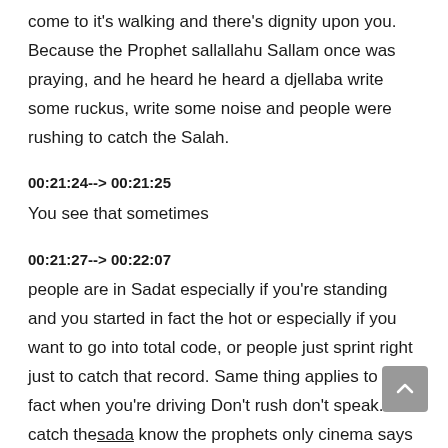come to it's walking and there's dignity upon you. Because the Prophet sallallahu Sallam once was praying, and he heard he heard a djellaba write some ruckus, write some noise and people were rushing to catch the Salah.
00:21:24--> 00:21:25
You see that sometimes
00:21:27--> 00:22:07
people are in Sadat especially if you're standing and you started in fact the hot or especially if you want to go into total code, or people just sprint right just to catch that record. Same thing applies to the fact when you're driving Don't rush don't speak. To catch the sada know the prophets only cinema says come while you are in what with dignity? Because you are insula as long as you are heading to them